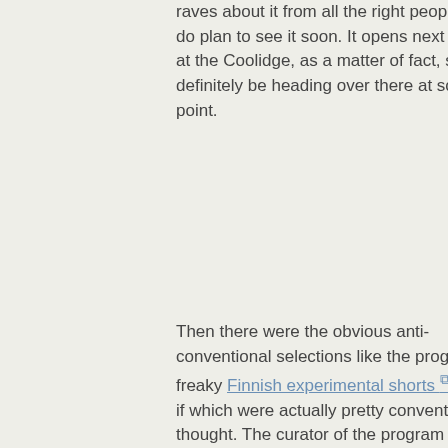raves about it from all the right people, so I do plan to see it soon. It opens next week at the Coolidge, as a matter of fact, so I'll definitely be heading over there at some point.
Then there were the obvious anti-conventional selections like the program of freaky Finnish experimental shorts, most if which were actually pretty conventional, I thought. The curator of the program warned us that there were two films that were extremely disturbing and difficult to sit through and said she'd understand if we walked out–I was bracing myself for animal mutilation or diarrhea-inducing low-frequency